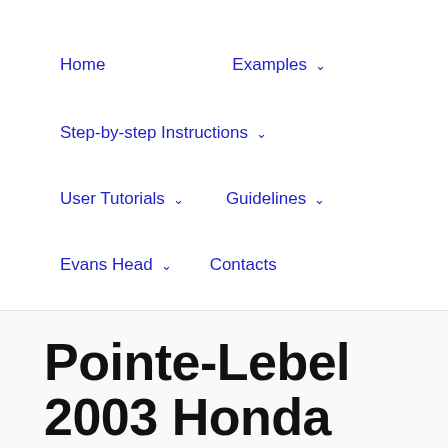Home   Examples ˅   Step-by-step Instructions ˅   User Tutorials ˅   Guidelines ˅   Evans Head ˅   Contacts
Pointe-Lebel 2003 Honda...